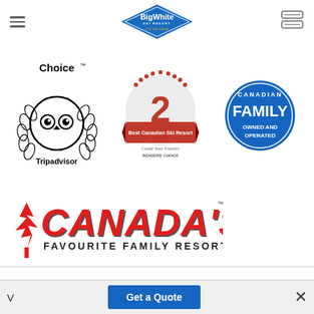Big White Ski Resort — IT'S THE SNOW
[Figure (logo): Tripadvisor Travellers Choice award badge with owl logo and laurel wreath, black and white]
[Figure (logo): Condé Nast Traveler Readers' Choice badge: #2 Best Canadian Ski Resort, silver/red]
[Figure (logo): Canadian Family Owned and Operated blue circular badge]
[Figure (logo): Canada's Favourite Family Resort logo with red maple leaf and large red italic text]
Big White Ski Resort Ltd.
Canadian owned and family operated since
Get a Quote